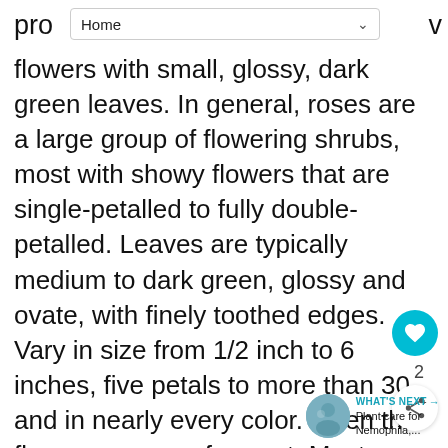Home
flowers with small, glossy, dark green leaves. In general, roses are a large group of flowering shrubs, most with showy flowers that are single-petalled to fully double-petalled. Leaves are typically medium to dark green, glossy and ovate, with finely toothed edges. Vary in size from 1/2 inch to 6 inches, five petals to more than 30, and in nearly every color. Often the flowers are very fragrant. Most varieties grow on long canes that sometimes climb. Unfortunately, this favorite plant is quite susceptible to a variety of diseases and pests, many of which can be controlled with cultural practices.